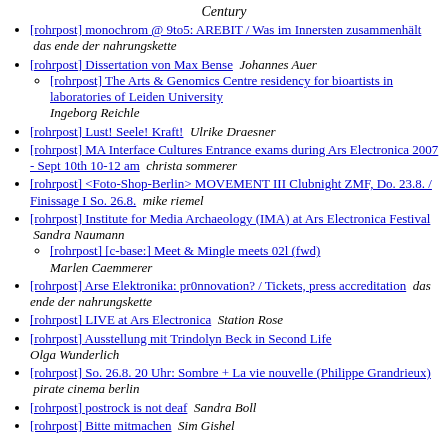Century
[rohrpost] monochrom @ 9to5: AREBIT / Was im Innersten zusammenhält   das ende der nahrungskette
[rohrpost] Dissertation von Max Bense   Johannes Auer
[rohrpost] The Arts & Genomics Centre residency for bioartists in laboratories of Leiden University   Ingeborg Reichle
[rohrpost] Lust! Seele! Kraft!   Ulrike Draesner
[rohrpost] MA Interface Cultures Entrance exams during Ars Electronica 2007 - Sept 10th 10-12 am   christa sommerer
[rohrpost] <Foto-Shop-Berlin> MOVEMENT III Clubnight ZMF, Do. 23.8. / Finissage I So. 26.8.   mike riemel
[rohrpost] Institute for Media Archaeology (IMA) at Ars Electronica Festival   Sandra Naumann
[rohrpost] [c-base:] Meet & Mingle meets 02l (fwd)   Marlen Caemmerer
[rohrpost] Arse Elektronika: pr0nnovation? / Tickets, press accreditation   das ende der nahrungskette
[rohrpost] LIVE at Ars Electronica   Station Rose
[rohrpost] Ausstellung mit Trindolyn Beck in Second Life   Olga Wunderlich
[rohrpost] So. 26.8. 20 Uhr: Sombre + La vie nouvelle (Philippe Grandrieux)   pirate cinema berlin
[rohrpost] postrock is not deaf   Sandra Boll
[rohrpost] Bitte mitmachen   Sim Gishel